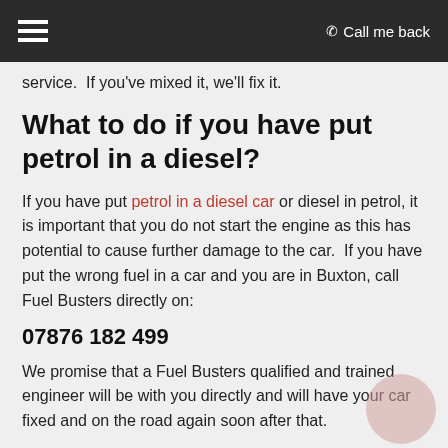☰  Call me back
service.  If you've mixed it, we'll fix it.
What to do if you have put petrol in a diesel?
If you have put petrol in a diesel car or diesel in petrol, it is important that you do not start the engine as this has potential to cause further damage to the car.  If you have put the wrong fuel in a car and you are in Buxton, call Fuel Busters directly on:
07876 182 499
We promise that a Fuel Busters qualified and trained engineer will be with you directly and will have your car fixed and on the road again soon after that.